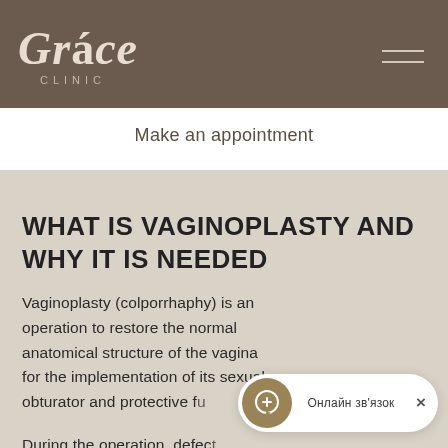[Figure (logo): Grace Clinic logo — stylized serif italic text 'Gráce' with 'CLINIC' below in spaced caps, on dark brown background with hamburger menu icon on right]
Make an appointment
WHAT IS VAGINOPLASTY AND WHY IT IS NEEDED
Vaginoplasty (colporrhaphy) is an operation to restore the normal anatomical structure of the vagina for the implementation of its sexual, obturator and protective f...
During the operation, defec...
Онлайн зв'язок